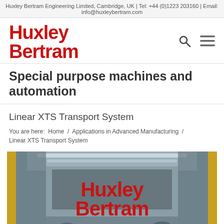Huxley Bertram Engineering Limited, Cambridge, UK | Tel: +44 (0)1223 203160 | Email: info@huxleybertram.com
Huxley Bertram
Special purpose machines and automation
Linear XTS Transport System
You are here:  Home  /  Applications in Advanced Manufacturing  /  Linear XTS Transport System
[Figure (photo): Interior photo of a manufacturing facility or exhibition hall with 'Huxley Bertram' displayed in large red letters on signage, with reflective surfaces and ceiling lighting visible.]